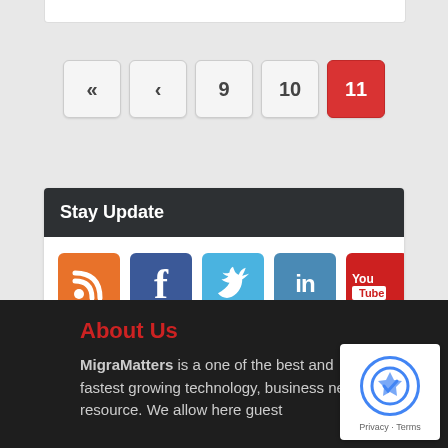[Figure (infographic): Pagination control showing navigation buttons: «, ‹, 9, 10, and active page 11 (highlighted in red)]
Stay Update
[Figure (infographic): Social media icons: RSS (orange), Facebook (blue), Twitter (light blue), LinkedIn (blue), YouTube (red)]
About Us
MigraMatters is a one of the best and fastest growing technology, business news resource. We allow here guest
[Figure (other): reCAPTCHA verification badge with Google branding, Privacy and Terms links]